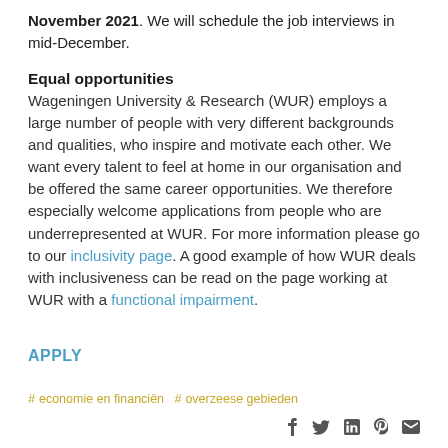November 2021. We will schedule the job interviews in mid-December.
Equal opportunities
Wageningen University & Research (WUR) employs a large number of people with very different backgrounds and qualities, who inspire and motivate each other. We want every talent to feel at home in our organisation and be offered the same career opportunities. We therefore especially welcome applications from people who are underrepresented at WUR. For more information please go to our inclusivity page. A good example of how WUR deals with inclusiveness can be read on the page working at WUR with a functional impairment.
APPLY
#economie en financiën  #overzeese gebieden